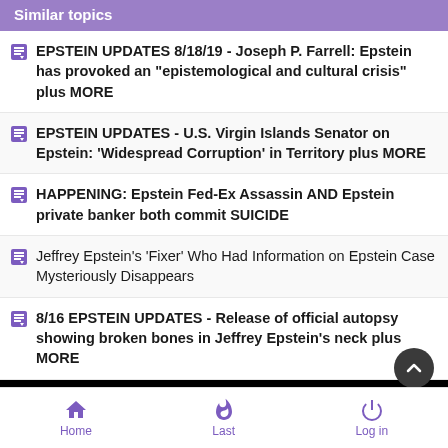Similar topics
EPSTEIN UPDATES 8/18/19 - Joseph P. Farrell: Epstein has provoked an "epistemological and cultural crisis" plus MORE
EPSTEIN UPDATES - U.S. Virgin Islands Senator on Epstein: 'Widespread Corruption' in Territory plus MORE
HAPPENING: Epstein Fed-Ex Assassin AND Epstein private banker both commit SUICIDE
Jeffrey Epstein's 'Fixer' Who Had Information on Epstein Case Mysteriously Disappears
8/16 EPSTEIN UPDATES - Release of official autopsy showing broken bones in Jeffrey Epstein's neck plus MORE
Home | Last | Log in